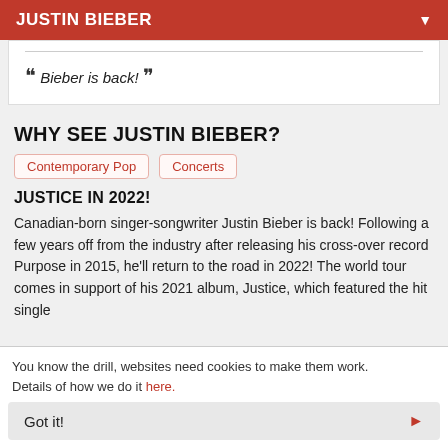JUSTIN BIEBER
"Bieber is back!"
WHY SEE JUSTIN BIEBER?
Contemporary Pop
Concerts
JUSTICE IN 2022!
Canadian-born singer-songwriter Justin Bieber is back! Following a few years off from the industry after releasing his cross-over record Purpose in 2015, he'll return to the road in 2022! The world tour comes in support of his 2021 album, Justice, which featured the hit single
You know the drill, websites need cookies to make them work. Details of how we do it here.
Got it!